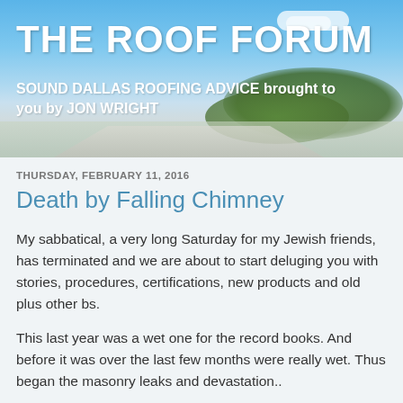[Figure (photo): Header banner image showing a scenic road with blue sky, white clouds, green trees, and a road/field in the foreground]
THE ROOF FORUM
SOUND DALLAS ROOFING ADVICE brought to you by JON WRIGHT
THURSDAY, FEBRUARY 11, 2016
Death by Falling Chimney
My sabbatical, a very long Saturday for my Jewish friends, has terminated and we are about to start deluging you with stories, procedures, certifications, new products and old plus other bs.
This last year was a wet one for the record books. And before it was over the last few months were really wet. Thus began the masonry leaks and devastation..
In the past we saw full brick chimneys with plywood/mortar